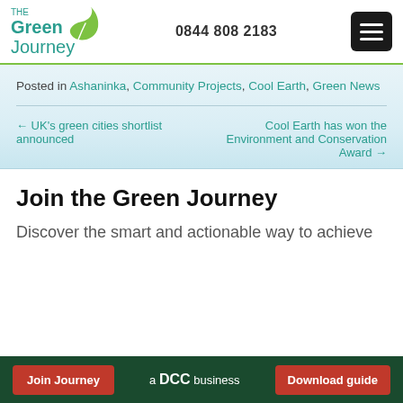The Green Journey | 0844 808 2183
Posted in Ashaninka, Community Projects, Cool Earth, Green News
← UK's green cities shortlist announced
Cool Earth has won the Environment and Conservation Award →
Join the Green Journey
Discover the smart and actionable way to achieve
Join Journey | a DCC business | Download guide